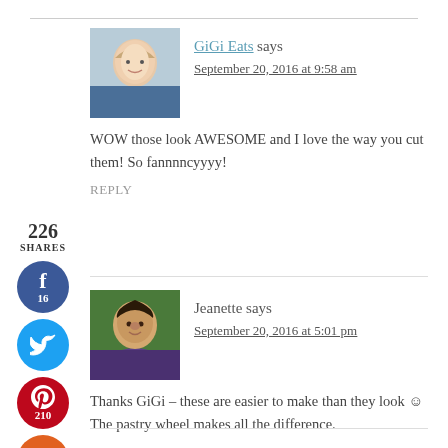GiGi Eats says
September 20, 2016 at 9:58 am
WOW those look AWESOME and I love the way you cut them! So fannnncyyyy!
REPLY
Jeanette says
September 20, 2016 at 5:01 pm
Thanks GiGi – these are easier to make than they look 🙂 The pastry wheel makes all the difference.
REPLY